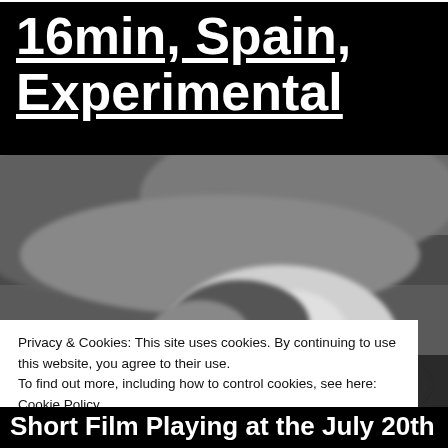16min, Spain, Experimental
[Figure (photo): Black and white photograph of a person lying down, face visible, blurred background texture]
Privacy & Cookies: This site uses cookies. By continuing to use this website, you agree to their use.
To find out more, including how to control cookies, see here: Cookie Policy
Short Film Playing at the July 20th